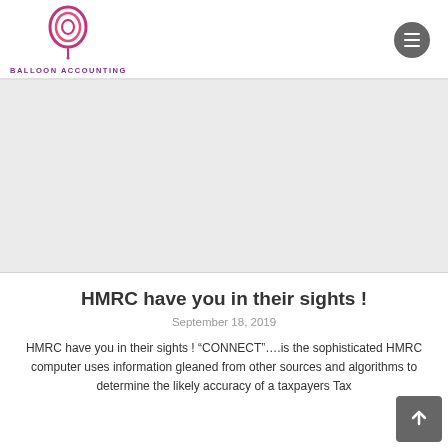[Figure (logo): Balloon Accounting logo: a balloon icon in pink and purple with the text 'BALLOON ACCOUNTING' below in purple uppercase letters]
[Figure (other): Hamburger menu button: a dark grey circle with three horizontal white lines]
[Figure (other): Hero image area: light grey placeholder banner]
HMRC have you in their sights !
September 18, 2019
HMRC have you in their sights ! “CONNECT”….is the sophisticated HMRC computer uses information gleaned from other sources and algorithms to determine the likely accuracy of a taxpayers Tax